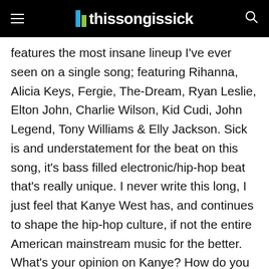thissongissick
features the most insane lineup I've ever seen on a single song; featuring Rihanna, Alicia Keys, Fergie, The-Dream, Ryan Leslie, Elton John, Charlie Wilson, Kid Cudi, John Legend, Tony Williams & Elly Jackson. Sick is and understatement for the beat on this song, it's bass filled electronic/hip-hop beat that's really unique. I never write this long, I just feel that Kanye West has, and continues to shape the hip-hop culture, if not the entire American mainstream music for the better. What's your opinion on Kanye? How do you think this album will do? Enjoy!